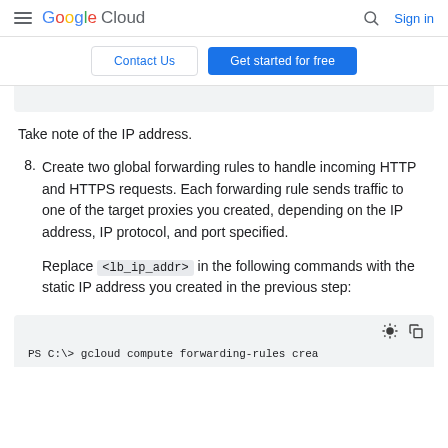Google Cloud  [search] Sign in
Contact Us  Get started for free
Take note of the IP address.
8. Create two global forwarding rules to handle incoming HTTP and HTTPS requests. Each forwarding rule sends traffic to one of the target proxies you created, depending on the IP address, IP protocol, and port specified.
Replace <lb_ip_addr> in the following commands with the static IP address you created in the previous step:
[Figure (screenshot): Bottom of a gray code block showing: PS C:\> gcloud compute forwarding-rules crea (truncated), with brightness and copy icons in top-right corner]